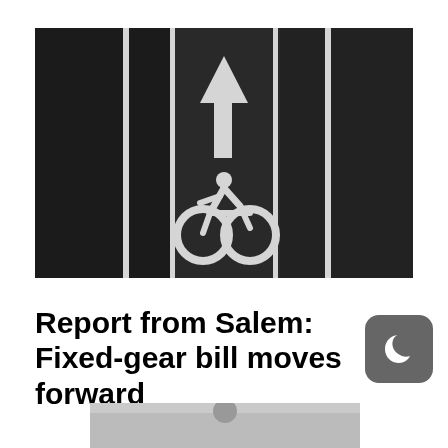[Figure (photo): Aerial view of dark asphalt road with white painted bicycle lane markings including a cyclist symbol and an upward-pointing arrow, with white lane divider lines on either side]
Report from Salem: Fixed-gear bill moves forward
[Figure (photo): Partial view of another photo at the bottom of the page, mostly cut off]